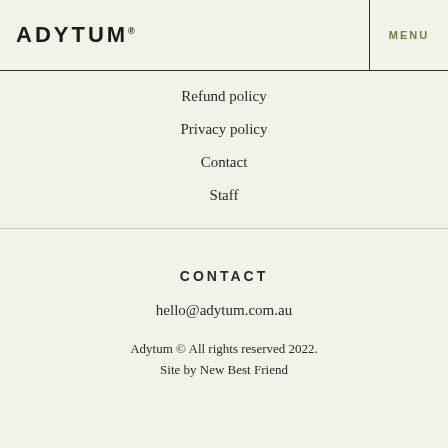ADYTUM
MENU
Refund policy
Privacy policy
Contact
Staff
CONTACT
hello@adytum.com.au
Adytum © All rights reserved 2022.
Site by New Best Friend